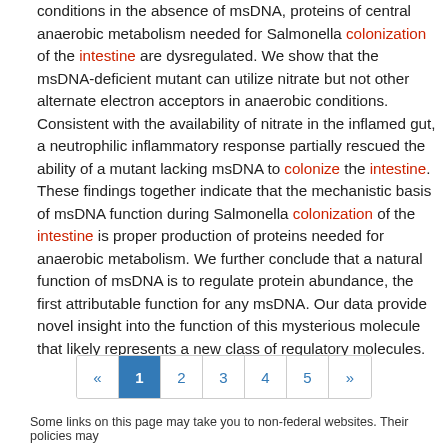conditions in the absence of msDNA, proteins of central anaerobic metabolism needed for Salmonella colonization of the intestine are dysregulated. We show that the msDNA-deficient mutant can utilize nitrate but not other alternate electron acceptors in anaerobic conditions. Consistent with the availability of nitrate in the inflamed gut, a neutrophilic inflammatory response partially rescued the ability of a mutant lacking msDNA to colonize the intestine. These findings together indicate that the mechanistic basis of msDNA function during Salmonella colonization of the intestine is proper production of proteins needed for anaerobic metabolism. We further conclude that a natural function of msDNA is to regulate protein abundance, the first attributable function for any msDNA. Our data provide novel insight into the function of this mysterious molecule that likely represents a new class of regulatory molecules.
[Figure (other): Pagination control showing: « 1 2 3 4 5 »]
Some links on this page may take you to non-federal websites. Their policies may